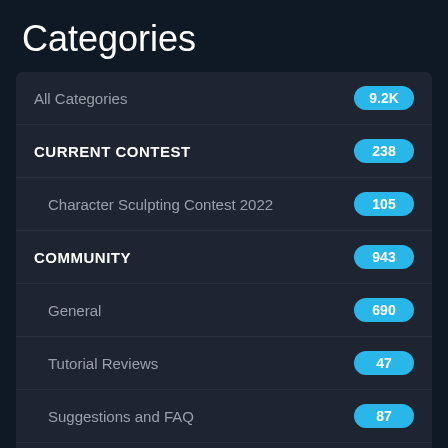Categories
All Categories
CURRENT CONTEST
Character Sculpting Contest 2022
COMMUNITY
General
Tutorial Reviews
Suggestions and FAQ
Educator Support
Job Listings
Artists for Hire